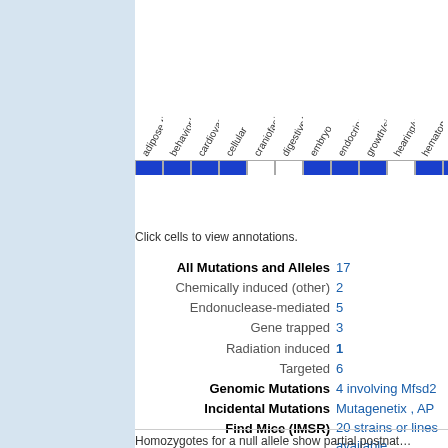[Figure (infographic): Heatmap grid showing phenotype annotations across categories (adipose tissue, behavior/neurological, cardiovascular, cellular, craniofacial, digestive/alimentary, embryo, endocrine/exocrine, growth/size/body, hearing/vestibular, hematopoietic, homeostasis, immune, integument) with blue and white cells indicating presence/absence of annotations.]
Click cells to view annotations.
All Mutations and Alleles 17
Chemically induced (other) 2
Endonuclease-mediated 5
Gene trapped 3
Radiation induced 1
Targeted 6
Genomic Mutations 4 involving Mfsd2
Incidental Mutations Mutagenetix , AP
Find Mice (IMSR) 20 strains or lines available
Comparison Matrix Gene Expression Phenotype
Recombinase Activity Comparison Matrix Expression + Recombinase Activity
Homozygotes for a null allele show partial postnatal...